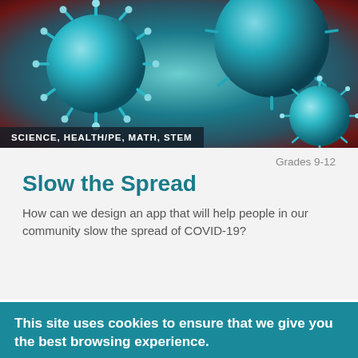[Figure (photo): Close-up macro photo of teal/cyan coronavirus particles with spike proteins on a dark red/maroon background]
SCIENCE, HEALTH/PE, MATH, STEM
Grades 9-12
Slow the Spread
How can we design an app that will help people in our community slow the spread of COVID-19?
[Figure (photo): Blurry black and white photo of a city skyline / industrial landscape]
This site uses cookies to ensure that we give you the best browsing experience.
By continuing to use this site, you are agreeing